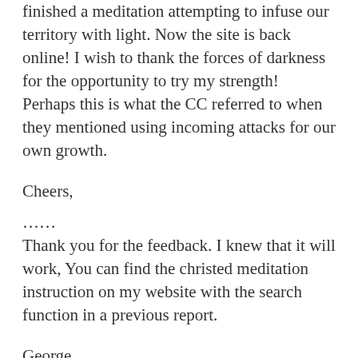finished a meditation attempting to infuse our territory with light. Now the site is back online! I wish to thank the forces of darkness for the opportunity to try my strength! Perhaps this is what the CC referred to when they mentioned using incoming attacks for our own growth.
Cheers,
……
Thank you for the feedback. I knew that it will work, You can find the christed meditation instruction on my website with the search function in a previous report.
George
………
Dear George!
The “astral news” section is down again, however every article can be found via the search engine, also the ones